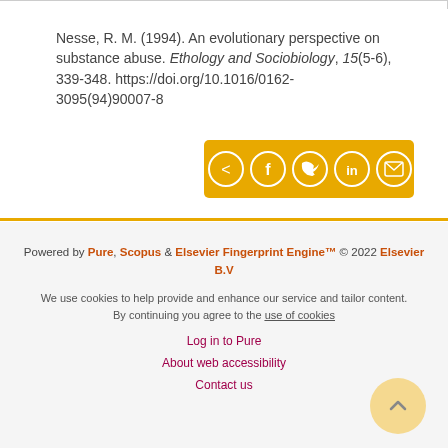Nesse, R. M. (1994). An evolutionary perspective on substance abuse. Ethology and Sociobiology, 15(5-6), 339-348. https://doi.org/10.1016/0162-3095(94)90007-8
[Figure (other): Social sharing buttons bar (share, Facebook, Twitter, LinkedIn, email) on an amber/orange background]
Powered by Pure, Scopus & Elsevier Fingerprint Engine™ © 2022 Elsevier B.V
We use cookies to help provide and enhance our service and tailor content. By continuing you agree to the use of cookies
Log in to Pure
About web accessibility
Contact us